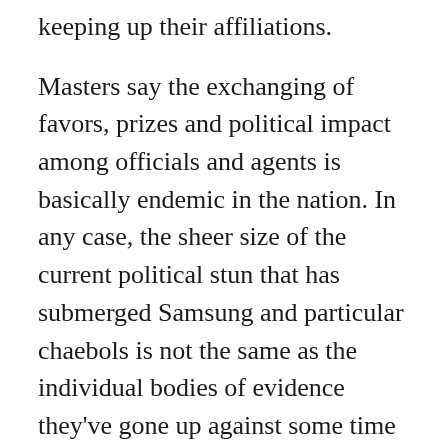keeping up their affiliations.
Masters say the exchanging of favors, prizes and political impact among officials and agents is basically endemic in the nation. In any case, the sheer size of the current political stun that has submerged Samsung and particular chaebols is not the same as the individual bodies of evidence they've gone up against some time as of late.
“Straightforwardly, it’s an imperative mortification for the country,” said Steve Chung, an expert on South Korean culture at the Chinese University of Hong Kong. The political emergency has instigated to gigantic road questions and a vote by